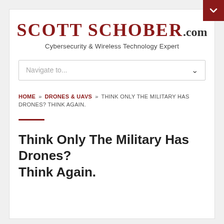[Figure (logo): Scott Schober .com logo with subtitle 'Cybersecurity & Wireless Technology Expert']
Navigate to...
HOME » DRONES & UAVS » THINK ONLY THE MILITARY HAS DRONES? THINK AGAIN.
Think Only The Military Has Drones? Think Again.